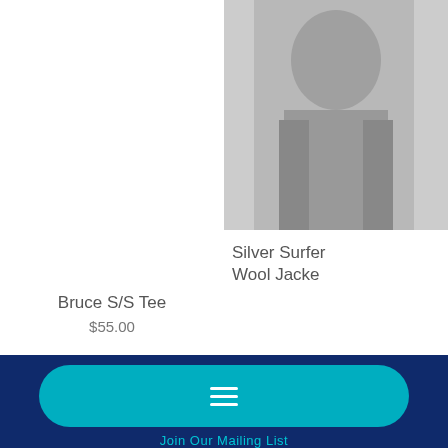[Figure (photo): Product photo area for Bruce S/S Tee (mostly white/blank)]
Bruce S/S Tee
$55.00
[Figure (photo): Partial product photo of Silver Surfer Wool Jacket showing a person wearing a grey jacket, cropped on right edge]
Silver Surfer Wool Jacket
[Figure (other): Teal rounded rectangle button with hamburger menu icon (three white horizontal lines)]
Join Our Mailing List